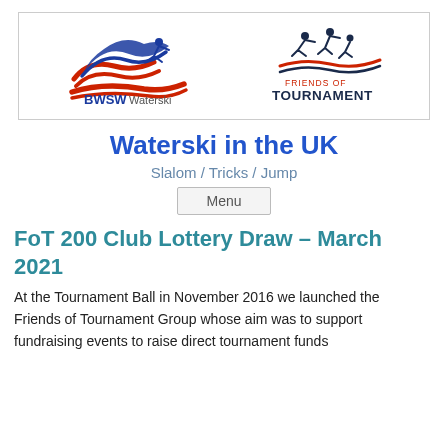[Figure (logo): BWSW Waterski logo (blue and red wave/figure) and Friends of Tournament logo with dark navy figures and red/blue waves, displayed side by side in a white bordered box]
Waterski in the UK
Slalom / Tricks / Jump
Menu
FoT 200 Club Lottery Draw – March 2021
At the Tournament Ball in November 2016 we launched the Friends of Tournament Group whose aim was to support fundraising events to raise direct tournament funds